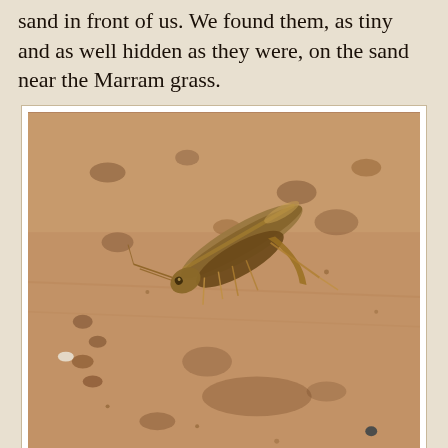sand in front of us. We found them, as tiny and as well hidden as they were, on the sand near the Marram grass.
[Figure (photo): Close-up photograph of a grasshopper camouflaged on sandy ground. The insect is brown and sandy-colored, blending in with the rough-textured sand around it. Small pebbles and debris are visible on the sand surface.]